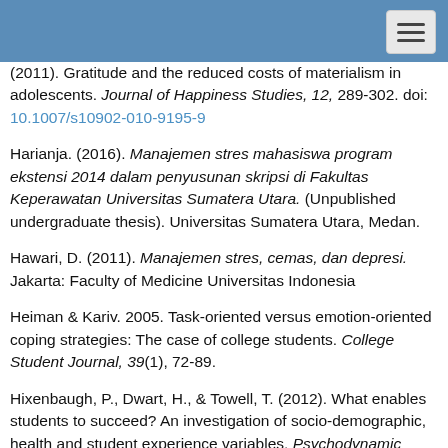(2011). Gratitude and the reduced costs of materialism in adolescents. Journal of Happiness Studies, 12, 289-302. doi: 10.1007/s10902-010-9195-9
Harianja. (2016). Manajemen stres mahasiswa program ekstensi 2014 dalam penyusunan skripsi di Fakultas Keperawatan Universitas Sumatera Utara. (Unpublished undergraduate thesis). Universitas Sumatera Utara, Medan.
Hawari, D. (2011). Manajemen stres, cemas, dan depresi. Jakarta: Faculty of Medicine Universitas Indonesia
Heiman & Kariv. 2005. Task-oriented versus emotion-oriented coping strategies: The case of college students. College Student Journal, 39(1), 72-89.
Hixenbaugh, P., Dwart, H., & Towell, T. (2012). What enables students to succeed? An investigation of socio-demographic, health and student experience variables. Psychodynamic Practice: Individuals, Groups, and Organisations, 18, 285-301.